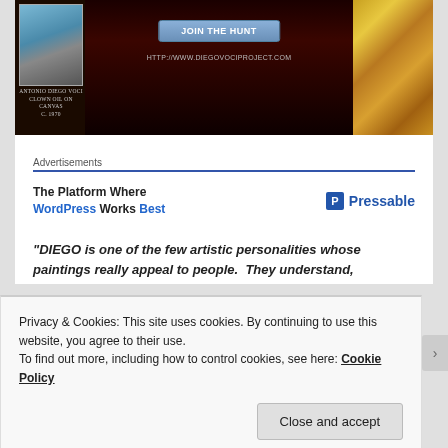[Figure (screenshot): Dark background webpage screenshot showing a clown painting thumbnail labeled 'Antonio Diego Voci, Clown Oil on Canvas, C. 1970', a 'JOIN THE HUNT' button, URL http://www.diegovociproject.com, and a gold picture frame on the right.]
Advertisements
[Figure (other): Pressable ad banner: 'The Platform Where WordPress Works Best' with Pressable logo]
"DIEGO is one of the few artistic personalities whose paintings really appeal to people.  They understand,
Privacy & Cookies: This site uses cookies. By continuing to use this website, you agree to their use.
To find out more, including how to control cookies, see here: Cookie Policy
Close and accept